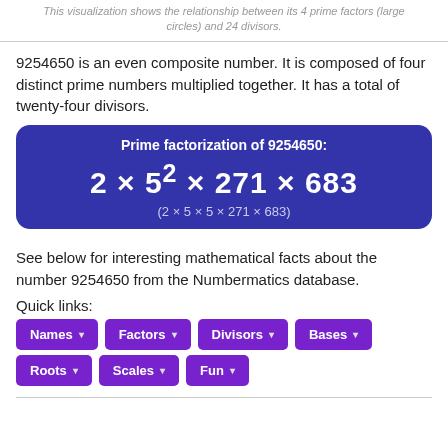This visualization shows the relationship between its 4 prime factors (large circles) and 24 divisors.
9254650 is an even composite number. It is composed of four distinct prime numbers multiplied together. It has a total of twenty-four divisors.
See below for interesting mathematical facts about the number 9254650 from the Numbermatics database.
Quick links:
Names
Factors
Divisors
Bases
Roots
Scales
Fun